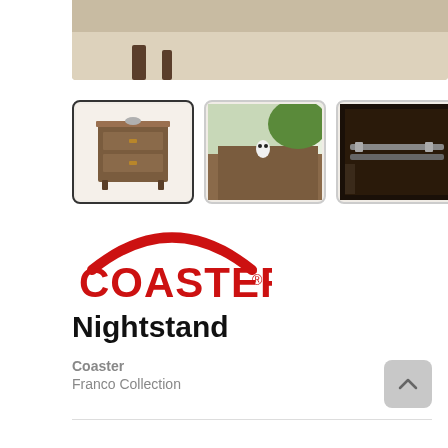[Figure (photo): Top portion of a product image showing a nightstand on a light wood floor, partially cropped]
[Figure (photo): Thumbnail 1 (selected): Nightstand - front view with 2 drawers, dark walnut finish]
[Figure (photo): Thumbnail 2: Close-up of nightstand top surface with a small owl figurine]
[Figure (photo): Thumbnail 3: Close-up of nightstand drawer interior/hardware]
[Figure (photo): Thumbnail 4: Nightstand front view, lighter angle]
[Figure (logo): Coaster brand logo: red arch above bold red COASTER text with registered trademark symbol]
Nightstand
Coaster
Franco Collection